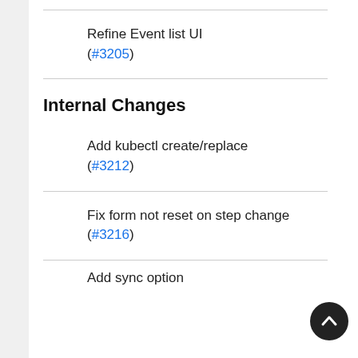Refine Event list UI (#3205)
Internal Changes
Add kubectl create/replace (#3212)
Fix form not reset on step change (#3216)
Add sync option